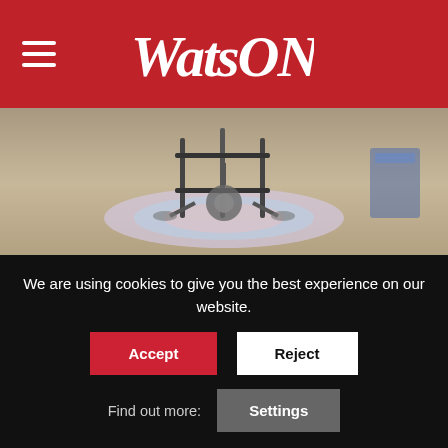WatsON
[Figure (photo): A drone or robot device on a colorful mat on a floor, photographed from above/side angle in what appears to be a retail or exhibition space.]
Around the World · ASW Pulse · Recent Awards
Watsons China is Named Annual Industry Benchmark Brand
The first ever Tencent Smart Retail T+ Ranking has been
We are using cookies to give you the best experience on our website.
Accept
Reject
Find out more:
Settings